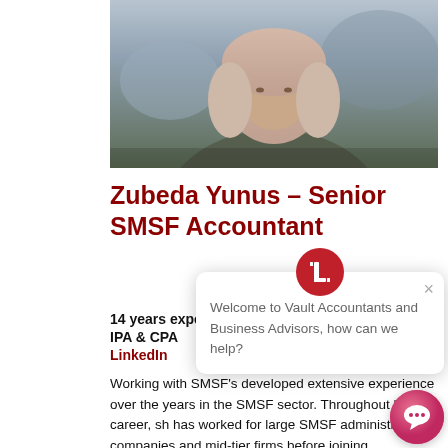[Figure (photo): Portrait photo of Zubeda Yunus wearing a dark olive/grey sweater and hijab, blurred background]
Zubeda Yunus – Senior SMSF Accountant
14 years experience
IPA & CPA
LinkedIn
Working with SMSF's developed extensive experience over the years in the SMSF sector. Throughout her career, she has worked for large SMSF administration companies and mid-tier firms before joining
[Figure (screenshot): Chat widget popup showing Vault Accountants logo and message: Welcome to Vault Accountants and Business Advisors, how can we help?]